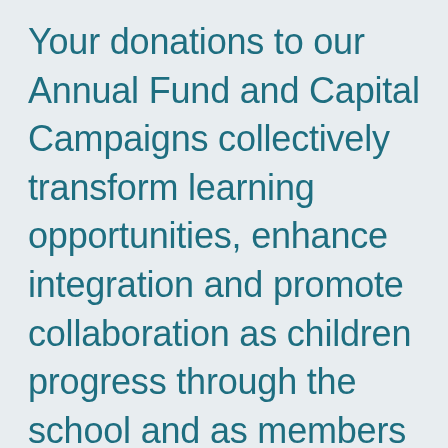Your donations to our Annual Fund and Capital Campaigns collectively transform learning opportunities, enhance integration and promote collaboration as children progress through the school and as members of our global alumni community.